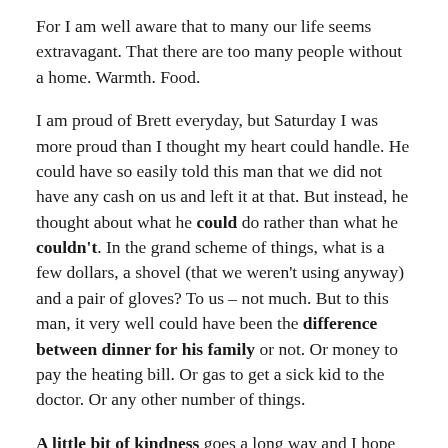For I am well aware that to many our life seems extravagant. That there are too many people without a home. Warmth. Food.
I am proud of Brett everyday, but Saturday I was more proud than I thought my heart could handle. He could have so easily told this man that we did not have any cash on us and left it at that. But instead, he thought about what he could do rather than what he couldn't. In the grand scheme of things, what is a few dollars, a shovel (that we weren't using anyway) and a pair of gloves? To us – not much. But to this man, it very well could have been the difference between dinner for his family or not. Or money to pay the heating bill. Or gas to get a sick kid to the doctor. Or any other number of things.
A little bit of kindness goes a long way and I hope that man was able to make the rest of the money he needed. Even more though, I hope once he is doing better that he